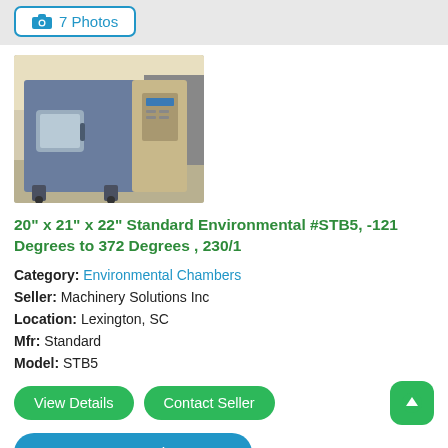7 Photos
[Figure (photo): Industrial environmental test chamber (blue/grey cabinet with window, on wheels) in a laboratory setting]
20" x 21" x 22" Standard Environmental #STB5, -121 Degrees to 372 Degrees , 230/1
Category: Environmental Chambers
Seller: Machinery Solutions Inc
Location: Lexington, SC
Mfr: Standard
Model: STB5
View Details
Contact Seller
Request Price